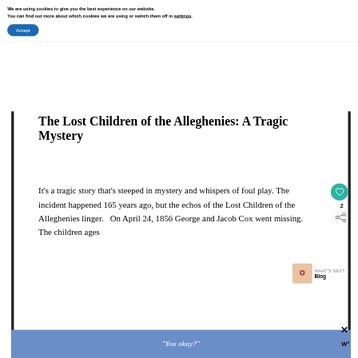We are using cookies to give you the best experience on our website.
You can find out more about which cookies we are using or switch them off in settings.
Accept
The Lost Children of the Alleghenies: A Tragic Mystery
It’s a tragic story that’s steeped in mystery and whispers of foul play. The incident happened 165 years ago, but the echos of the Lost Children of the Alleghenies linger.  On April 24, 1856 George and Jacob Cox went missing. The children ages
“You okay?”